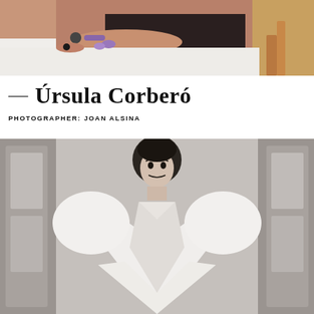[Figure (photo): Color photo of a woman in a black dress lying on a white surface, wearing jewelry, partial view of wooden furniture in background]
— Úrsula Corberó
PHOTOGRAPHER: JOAN ALSINA
[Figure (photo): Black and white photo of a woman in a white flowing dress with puffed sleeves and deep V-neckline, standing in front of ornate architectural paneling]